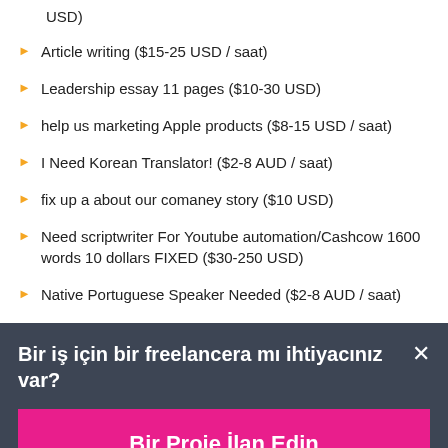USD)
Article writing ($15-25 USD / saat)
Leadership essay 11 pages ($10-30 USD)
help us marketing Apple products ($8-15 USD / saat)
I Need Korean Translator! ($2-8 AUD / saat)
fix up a about our comaney story ($10 USD)
Need scriptwriter For Youtube automation/Cashcow 1600 words 10 dollars FIXED ($30-250 USD)
Native Portuguese Speaker Needed ($2-8 AUD / saat)
Bir iş için bir freelancera mı ihtiyacınız var? ×
Bir Proje İlan Edin